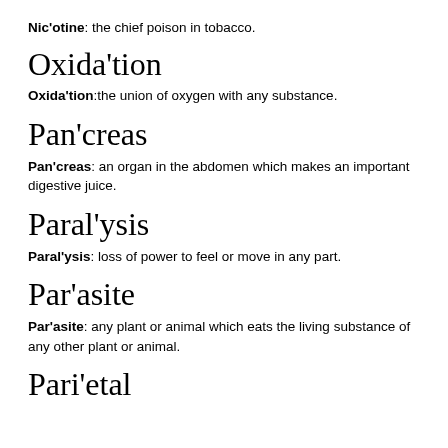Nic'otine: the chief poison in tobacco.
Oxida'tion
Oxida'tion:the union of oxygen with any substance.
Pan'creas
Pan'creas: an organ in the abdomen which makes an important digestive juice.
Paral'ysis
Paral'ysis: loss of power to feel or move in any part.
Par'asite
Par'asite: any plant or animal which eats the living substance of any other plant or animal.
Pari'etal